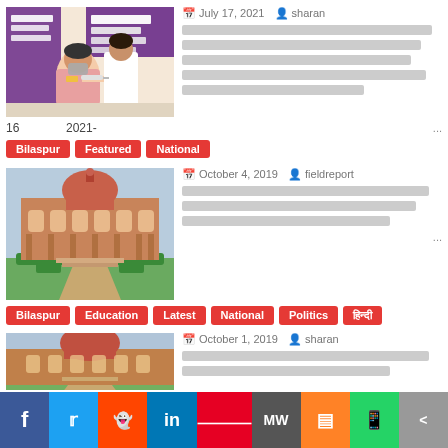[Figure (photo): COVID-19 vaccination scene with a doctor giving a shot to a patient]
July 17, 2021  sharan
Hindi article title text (redacted blocks)
16  2021-  ...
Bilaspur | Featured | National
[Figure (photo): Chhattisgarh High Court building with red dome and formal garden]
October 4, 2019  fieldreport
Hindi article title text (redacted blocks)
...
Bilaspur | Education | Latest | National | Politics | Hindi tag
[Figure (photo): Chhattisgarh High Court building partial view]
October 1, 2019  sharan
Hindi article title text (redacted blocks)
f  Twitter  Reddit  in  Pinterest  MW  Mix  WhatsApp  Share